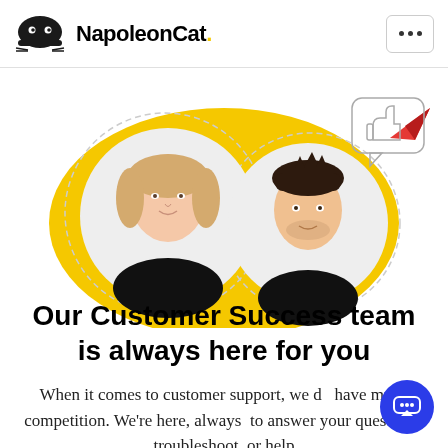NapoleonCat.
[Figure (illustration): Two circular portrait photos of a woman with blonde hair and a man with dark hair, set against a large yellow blob shape. A red paper airplane and a thumbs-up speech bubble are visible in the background. The image is partially cropped at the top.]
Our Customer Success team is always here for you
When it comes to customer support, we don't have much competition. We're here, always to answer your questions, troubleshoot, or help